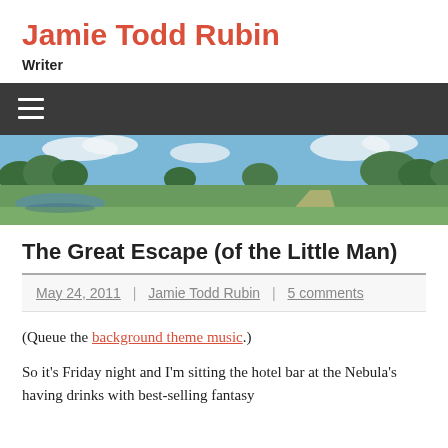Jamie Todd Rubin
Writer
[Figure (screenshot): Dark navigation bar with hamburger menu icon (three white horizontal lines) on dark gray/charcoal background]
[Figure (photo): Panoramic landscape photo showing green fields, trees, water reflection, and a blue sky with clouds]
The Great Escape (of the Little Man)
May 24, 2011 | Jamie Todd Rubin | 5 comments
(Queue the background theme music.)
So it's Friday night and I'm sitting the hotel bar at the Nebula's having drinks with best-selling fantasy